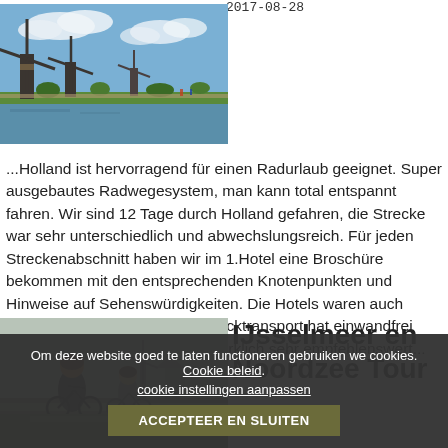2017-08-28
[Figure (photo): Windmills along a canal in Holland under a blue sky with clouds]
...Holland ist hervorragend für einen Radurlaub geeignet. Super ausgebautes Radwegesystem, man kann total entspannt fahren. Wir sind 12 Tage durch Holland gefahren, die Strecke war sehr unterschiedlich und abwechslungsreich. Für jeden Streckenabschnitt haben wir im 1.Hotel eine Broschüre bekommen mit den entsprechenden Knotenpunkten und Hinweise auf Sehenswürdigkeiten. Die Hotels waren auch durchweg sehr schön, der Gepäcktransport hat einwandfrei geklappt. Solch eine Reise ist wirklich sehr empfehlenswert...
[Figure (photo): Two cyclists in a flat Dutch landscape with windmill in the background]
IJsselmeer en Noordzee Tour
Om deze website goed te laten functioneren gebruiken we cookies. Cookie beleid. cookie instellingen aanpassen ACCEPTEER EN SLUITEN